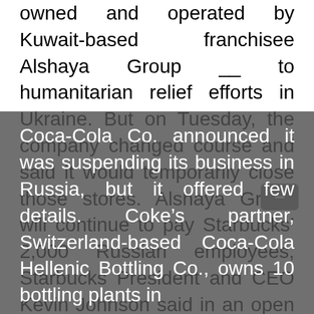owned and operated by Kuwait-based franchisee Alshaya Group __ to humanitarian relief efforts in Ukraine. But on Tuesday, the company changed course and said it would temporarily close those stores. Alshaya Group will continue to pay Starbucks' 2,000 Russian employees, Starbucks President and CEO Kevin Johnson said in an open letter to employees.
“Through this dynamic situation, we will continue to make decisions that are true to our mission and values and communicate with transparency,” Johnson wrote.
Coca-Cola Co. announced it was suspending its business in Russia, but it offered few details. Coke’s partner, Switzerland-based Coca-Cola Hellenic Bottling Co., owns 10 bottling plants in